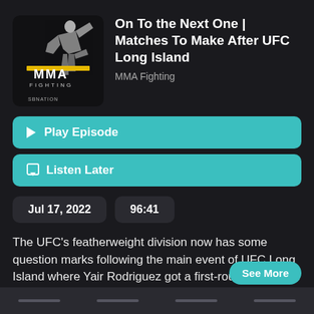[Figure (logo): MMA Fighting SBNation podcast cover art — dark background with stylized fighter silhouette and gold/yellow horizontal bar, text MMA FIGHTING and SBNATION]
On To the Next One | Matches To Make After UFC Long Island
MMA Fighting
Play Episode
Listen Later
Jul 17, 2022
96:41
The UFC's featherweight division now has some question marks following the main event of UFC Long Island where Yair Rodriguez got a first-round stoppage win against Brian Ortega, but not in the
See More